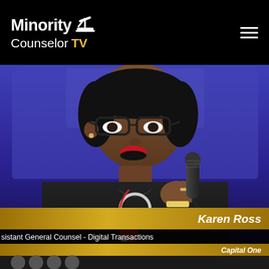Minority Counselor TV
[Figure (photo): A woman wearing glasses and a black top speaking into a microphone at a panel event, with a blue/purple background. Lower third graphics show her name 'Karen Ross', title 'Assistant General Counsel - Digital Transactions', and company 'Capital One'.]
Karen Ross — Assistant General Counsel - Digital Transactions, Capital One